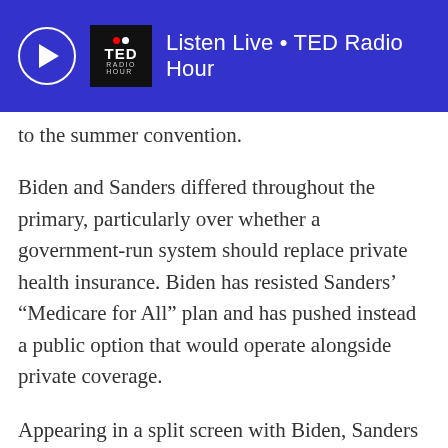[Figure (screenshot): TED Radio Hour listen live header banner with play button, TED logo, and blue background]
to the summer convention.
Biden and Sanders differed throughout the primary, particularly over whether a government-run system should replace private health insurance. Biden has resisted Sanders’ “Medicare for All” plan and has pushed instead a public option that would operate alongside private coverage.
Appearing in a split screen with Biden, Sanders said there’s “no great secret out there that you and I have our differences.”
But Sanders said the greater priority for Democrats of all political persuasions should be defeating Trump.